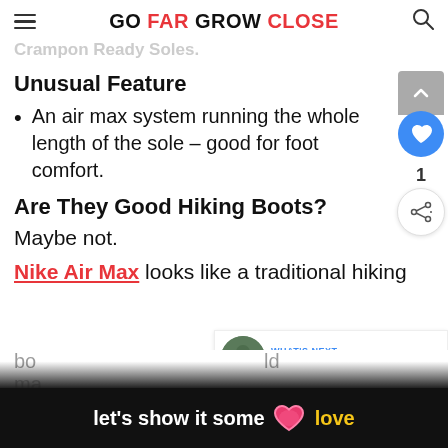GO FAR GROW CLOSE
Crampon Ready Soles
Unusual Feature
An air max system running the whole length of the sole – good for foot comfort.
Are They Good Hiking Boots?
Maybe not.
Nike Air Max looks like a traditional hiking
WHAT'S NEXT → The 7 Coolest And Best Ni...
let's show it some love